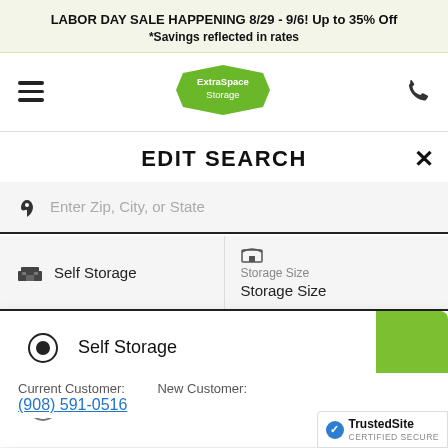LABOR DAY SALE HAPPENING 8/29 - 9/6! Up to 35% Off
*Savings reflected in rates
[Figure (logo): Extra Space Storage logo - green hexagon shape with white text]
EDIT SEARCH
Enter Zip, City, or State
Self Storage
Storage Size
Storage Size
Self Storage (selected radio button)
Vehicle Storage
Current Customer:
(908) 591-0516
New Customer:
[Figure (logo): TrustedSite CERTIFIED SECURE badge]